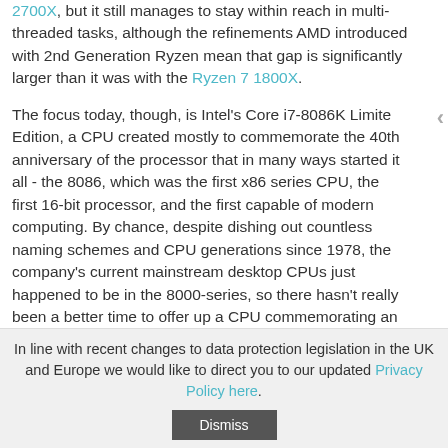2700X, but it still manages to stay within reach in multi-threaded tasks, although the refinements AMD introduced with 2nd Generation Ryzen mean that gap is significantly larger than it was with the Ryzen 7 1800X.
The focus today, though, is Intel's Core i7-8086K Limited Edition, a CPU created mostly to commemorate the 40th anniversary of the processor that in many ways started it all - the 8086, which was the first x86 series CPU, the first 16-bit processor, and the first capable of modern computing. By chance, despite dishing out countless naming schemes and CPU generations since 1978, the company's current mainstream desktop CPUs just happened to be in the 8000-series, so there hasn't really been a better time to offer up a CPU commemorating an 8086 anniversary.
In line with recent changes to data protection legislation in the UK and Europe we would like to direct you to our updated Privacy Policy here.